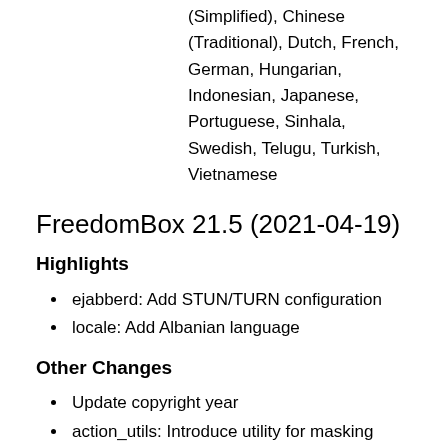(Simplified), Chinese (Traditional), Dutch, French, German, Hungarian, Indonesian, Japanese, Portuguese, Sinhala, Swedish, Telugu, Turkish, Vietnamese
FreedomBox 21.5 (2021-04-19)
Highlights
ejabberd: Add STUN/TURN configuration
locale: Add Albanian language
Other Changes
Update copyright year
action_utils: Introduce utility for masking services
ci: Merge with Salsa CI pipeline
config, dynamicdns, pagekite: Remove incorrect use of str